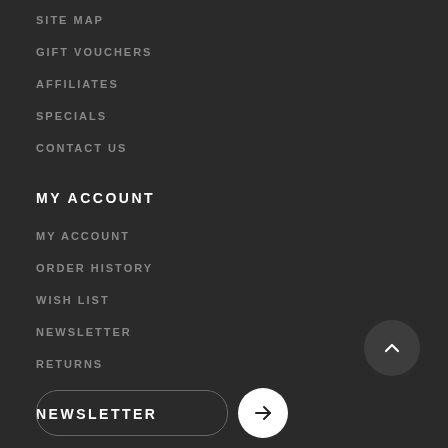SITE MAP
GIFT VOUCHERS
AFFILIATES
SPECIALS
CONTACT US
MY ACCOUNT
MY ACCOUNT
ORDER HISTORY
WISH LIST
NEWSLETTER
RETURNS
NEWSLETTER
[Figure (other): Back to top button — dark circle with upward chevron arrow]
[Figure (other): Newsletter email input field (rounded rectangle outline) and submit button (white circle with right arrow)]